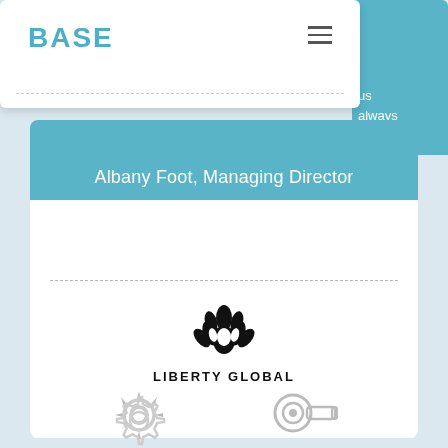BASE
us always deliver
Albany Foot, Managing Director
[Figure (logo): Liberty Global logo - artichoke/flower icon above bold text LIBERTY GLOBAL]
Media
15,000 sq ft